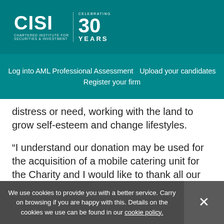[Figure (logo): CISI Chartered Institute for Securities & Investment logo with 'Celebrating 30 Years' text]
Log into AML Professional Assessment | Upload your candidates | Register your firm
distress or need, working with the land to grow self-esteem and change lifestyles.
“I understand our donation may be used for the acquisition of a mobile catering unit for the Charity and I would like to thank all our CISI members for their wonderful generosity for this very worthy cause. Caritas
We use cookies to provide you with a better service. Carry on browsing if you are happy with this. Details on the cookies we use can be found in our cookie policy.